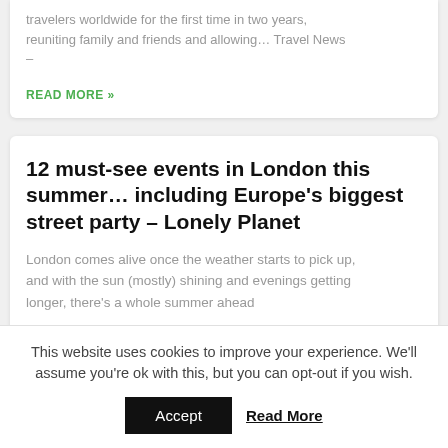travelers worldwide for the first time in two years, reuniting family and friends and allowing… Travel News –
READ MORE »
12 must-see events in London this summer… including Europe's biggest street party – Lonely Planet
London comes alive once the weather starts to pick up, and with the sun (mostly) shining and evenings getting longer, there's a whole summer ahead
This website uses cookies to improve your experience. We'll assume you're ok with this, but you can opt-out if you wish.
Accept   Read More